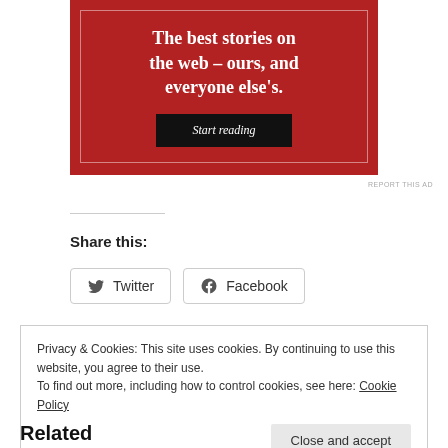[Figure (other): Red advertisement banner with text 'The best stories on the web – ours, and everyone else's.' and a black 'Start reading' button]
REPORT THIS AD
Share this:
Twitter
Facebook
Privacy & Cookies: This site uses cookies. By continuing to use this website, you agree to their use.
To find out more, including how to control cookies, see here: Cookie Policy
Close and accept
Related